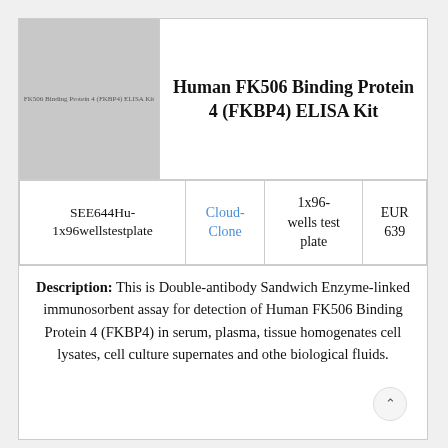[Figure (photo): Product image placeholder with text: FK506 Binding Protein 4 (FKBP4) ELISA Kit]
Human FK506 Binding Protein 4 (FKBP4) ELISA Kit
| Catalog Number | Brand | Pack Size | Price |
| --- | --- | --- | --- |
| SEE644Hu-1x96wellstestplate | Cloud-Clone | 1x96-wells test plate | EUR 639 |
Description: This is Double-antibody Sandwich Enzyme-linked immunosorbent assay for detection of Human FK506 Binding Protein 4 (FKBP4) in serum, plasma, tissue homogenates cell lysates, cell culture supernates and other biological fluids.